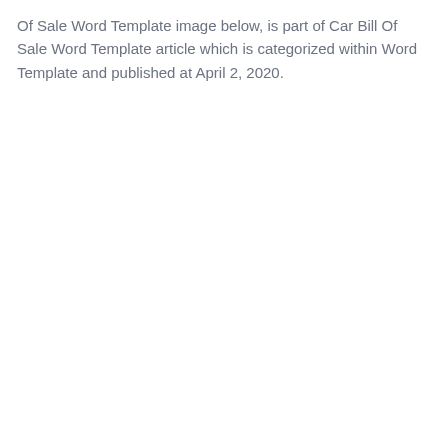Of Sale Word Template image below, is part of Car Bill Of Sale Word Template article which is categorized within Word Template and published at April 2, 2020.